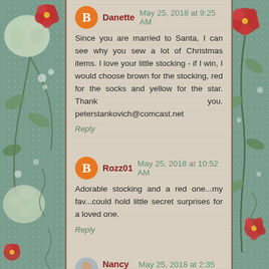Danette  May 25, 2018 at 9:25 AM
Since you are married to Santa, I can see why you sew a lot of Christmas items. I love your little stocking - if I win, I would choose brown for the stocking, red for the socks and yellow for the star. Thank you. peterstankovich@comcast.net
Reply
Rozz01  May 25, 2018 at 10:52 AM
Adorable stocking and a red one...my fav...could hold little secret surprises for a loved one.
Reply
Nancy J  May 25, 2018 at 2:35 PM
A gorgeous wee stocking, and Santa right there. My fav colours are greens and blues.
Reply